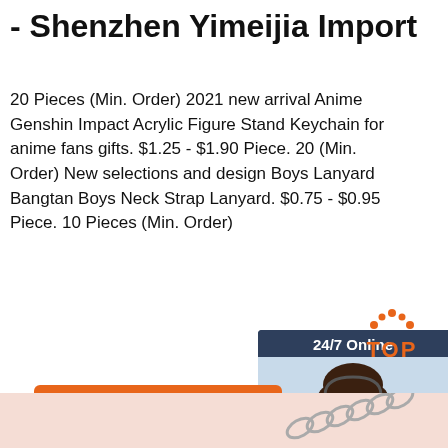- Shenzhen Yimeijia Import
20 Pieces (Min. Order) 2021 new arrival Anime Genshin Impact Acrylic Figure Stand Keychain for anime fans gifts. $1.25 - $1.90 Piece. 20 (Min. Order) New selections and design Boys Lanyard Bangtan Boys Neck Strap Lanyard. $0.75 - $0.95 Piece. 10 Pieces (Min. Order)
[Figure (photo): Customer support representative photo with 24/7 Online label, Click here for free chat text, and QUOTATION orange button]
Get Price
[Figure (illustration): Orange TOP button with dot-arc above it]
[Figure (photo): Bottom strip showing pink fabric and metal chain links]